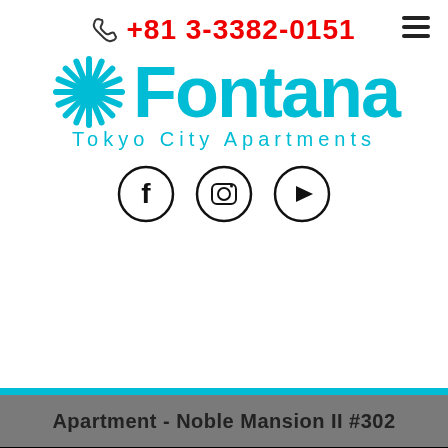+81 3-3382-0151
[Figure (logo): Fontana Tokyo City Apartments logo with starburst icon and social media icons (Facebook, Instagram, YouTube)]
Apartment - Noble Mansion II #302